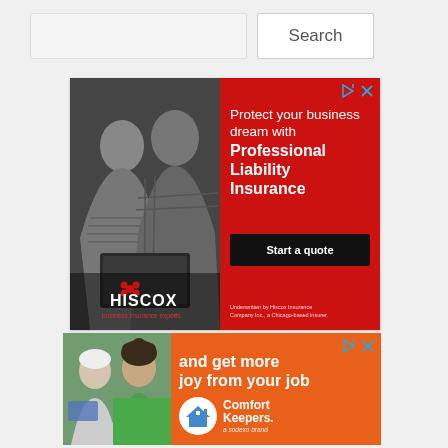[Figure (screenshot): Search bar UI with input field and Search button]
[Figure (photo): Hiscox insurance advertisement. Left half: black and white photo of a woman and older man looking at a tablet together. Right half: red background with text 'Protect your business dream with Professional Liability Insurance', black button 'Start a quote', fine print 'Underwritten by Hiscox Insurance Company Inc., a Chicago-based insurer'. Hiscox logo and 'business insurance experts' tagline on left photo portion.]
[Figure (photo): Comfort Keepers advertisement on orange background. Left: photo of two people (caregiver and elderly person). Right: text 'and get more joy from your job', Comfort Keepers logo (house icon), 'a sodexo brand' tagline.]